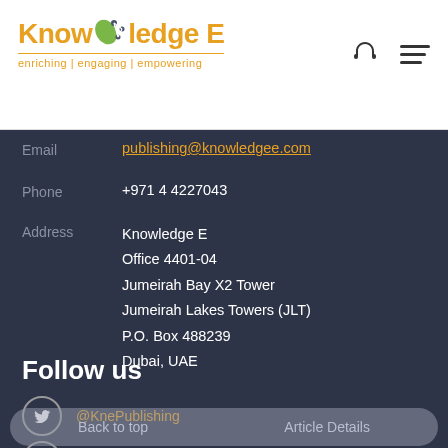[Figure (logo): Knowledge E logo with leaf and network icon, tagline: enriching | engaging | empowering]
Email	publishing@knowledgee.com
Phone	+971 4 4227043
Address	Knowledge E
Office 4401-04
Jumeirah Bay X2 Tower
Jumeirah Lakes Towers (JLT)
P.O. Box 488239
Dubai, UAE
Follow us
@KnePublishing
facebook.com/KnowledgeEGlobal
Youtube
Back to top    Article Details